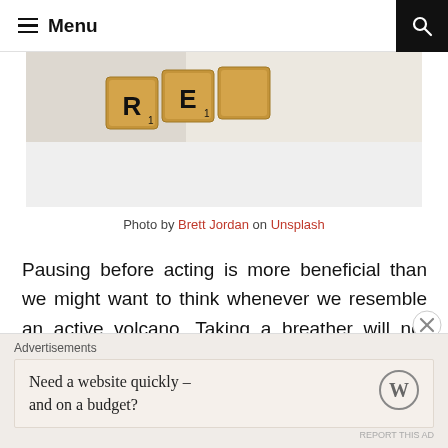Menu
[Figure (photo): Scrabble tiles spelling letters R, E and partial letters on a white surface]
Photo by Brett Jordan on Unsplash
Pausing before acting is more beneficial than we might want to think whenever we resemble an active volcano. Taking a breather will not only help you collect your thoughts and analyze the situation in a more logical manner. It will also diminish the the possibility of an unnecessary altercation with
Advertisements
Need a website quickly – and on a budget?